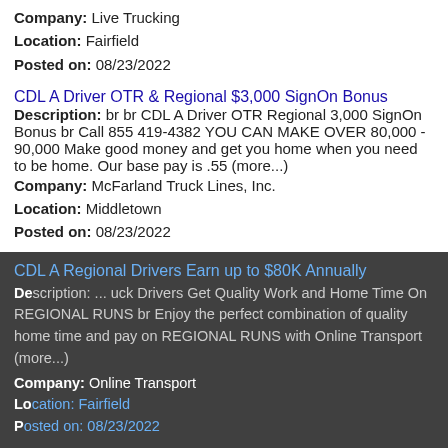Company: Live Trucking
Location: Fairfield
Posted on: 08/23/2022
CDL A Driver OTR & Regional $3,000 SignOn Bonus
Description: br br CDL A Driver OTR Regional 3,000 SignOn Bonus br Call 855 419-4382 YOU CAN MAKE OVER 80,000 - 90,000 Make good money and get you home when you need to be home. Our base pay is .55 (more...)
Company: McFarland Truck Lines, Inc.
Location: Middletown
Posted on: 08/23/2022
CDL A Regional Drivers Earn up to $80K Annually
Description: ... Truck Drivers Get Quality Work and Home Time On REGIONAL RUNS br Enjoy the perfect combination of quality home time and pay on REGIONAL RUNS with Online Transport (more...)
Company: Online Transport
Location: Fairfield
Posted on: 08/23/2022
This website uses cookies to ensure you get the best experience on our website.
Learn more
Got it!
Salary in Dayton, Ohio Area | More details for Dayton, Ohio Jobs |Salary